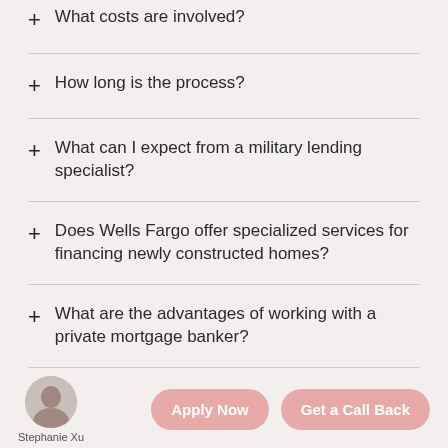+ What costs are involved?
+ How long is the process?
+ What can I expect from a military lending specialist?
+ Does Wells Fargo offer specialized services for financing newly constructed homes?
+ What are the advantages of working with a private mortgage banker?
+ What are the advantages of working with a community home mortgage consultant?
Stephanie Xu  Apply Now  Get a Call Back